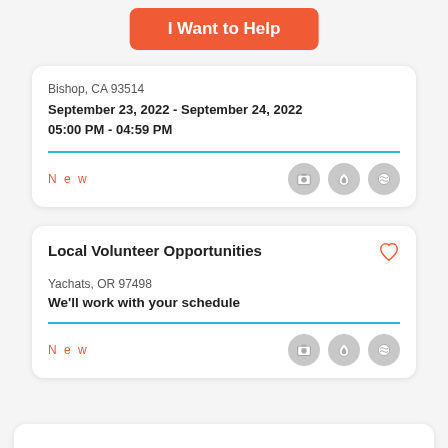I Want to Help
Bishop, CA 93514
September 23, 2022 - September 24, 2022
05:00 PM - 04:59 PM
New
Local Volunteer Opportunities
Yachats, OR 97498
We'll work with your schedule
New